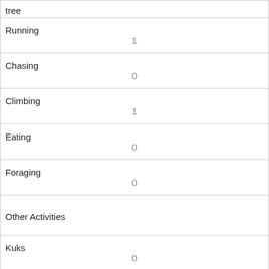| tree |  |
| Running | 1 |
| Chasing | 0 |
| Climbing | 1 |
| Eating | 0 |
| Foraging | 0 |
| Other Activities |  |
| Kuks | 0 |
| Quaas | 0 |
| Moans | 0 |
| Tail flags | 0 |